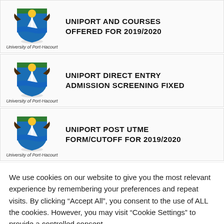[Figure (logo): University of Port-Harcourt shield logo with blue and white design, sun at top]
UNIPORT AND COURSES OFFERED FOR 2019/2020
[Figure (logo): University of Port-Harcourt shield logo with blue and white design, sun at top]
UNIPORT DIRECT ENTRY ADMISSION SCREENING FIXED
[Figure (logo): University of Port-Harcourt shield logo with blue and white design, sun at top]
UNIPORT POST UTME FORM/CUTOFF FOR 2019/2020
We use cookies on our website to give you the most relevant experience by remembering your preferences and repeat visits. By clicking "Accept All", you consent to the use of ALL the cookies. However, you may visit "Cookie Settings" to provide a controlled consent.